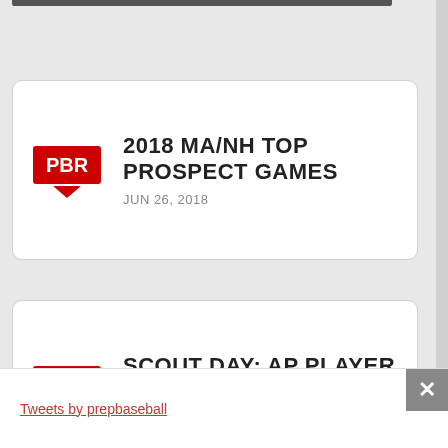2018 MA/NH TOP PROSPECT GAMES
JUN 26, 2018
SCOUT DAY: AP PLAYER DEVELOPMENT 2.25.18
FEB 25, 2018
Tweets by prepbaseball